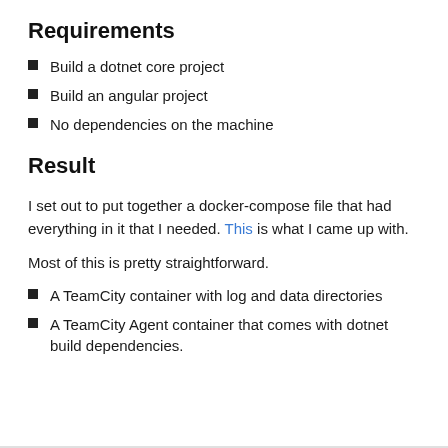Requirements
Build a dotnet core project
Build an angular project
No dependencies on the machine
Result
I set out to put together a docker-compose file that had everything in it that I needed. This is what I came up with.
Most of this is pretty straightforward.
A TeamCity container with log and data directories
A TeamCity Agent container that comes with dotnet build dependencies.